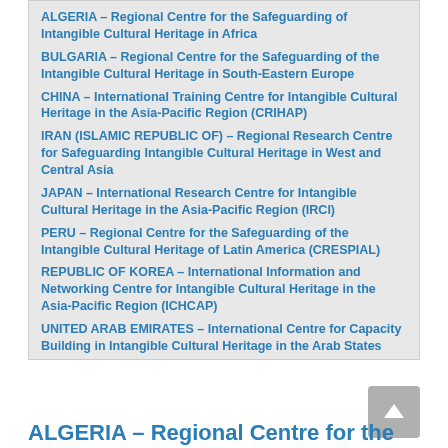ALGERIA – Regional Centre for the Safeguarding of Intangible Cultural Heritage in Africa
BULGARIA – Regional Centre for the Safeguarding of the Intangible Cultural Heritage in South-Eastern Europe
CHINA – International Training Centre for Intangible Cultural Heritage in the Asia-Pacific Region (CRIHAP)
IRAN (ISLAMIC REPUBLIC OF) – Regional Research Centre for Safeguarding Intangible Cultural Heritage in West and Central Asia
JAPAN – International Research Centre for Intangible Cultural Heritage in the Asia-Pacific Region (IRCI)
PERU – Regional Centre for the Safeguarding of the Intangible Cultural Heritage of Latin America (CRESPIAL)
REPUBLIC OF KOREA – International Information and Networking Centre for Intangible Cultural Heritage in the Asia-Pacific Region (ICHCAP)
UNITED ARAB EMIRATES – International Centre for Capacity Building in Intangible Cultural Heritage in the Arab States
ALGERIA – Regional Centre for the